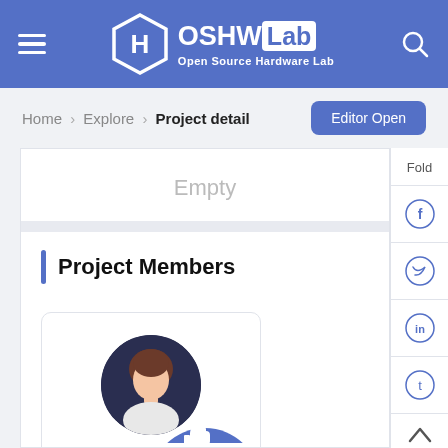OSHW Lab - Open Source Hardware Lab
Home > Explore > Project detail
Editor Open
Empty
Project Members
marshalbsb
Fold